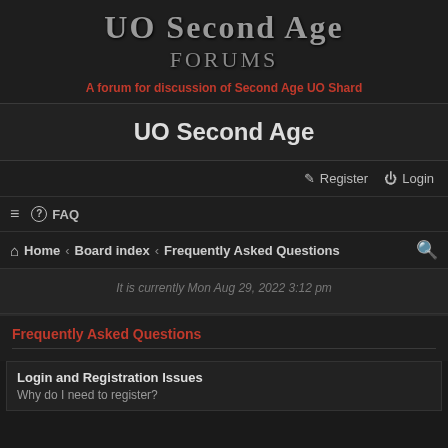UO Second Age Forums
A forum for discussion of Second Age UO Shard
UO Second Age
Register  Login
≡  FAQ
Home › Board index › Frequently Asked Questions
It is currently Mon Aug 29, 2022 3:12 pm
Frequently Asked Questions
Login and Registration Issues
Why do I need to register?